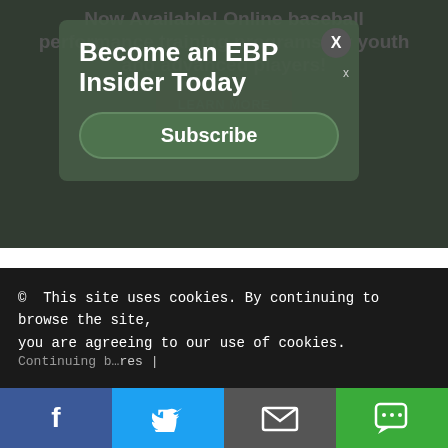Now Available! Online baseball performance training programs for youth and advanced players!
[Figure (screenshot): Subscribe popup modal overlay saying 'Become an EBP Insider Today' with a Subscribe button and X close button]
I agree to the terms and conditions laid out in the Privacy Policy
Post Comment
This site uses cookies. By continuing to browse the site, you are agreeing to our use of cookies.
Continuing by ... res |
[Figure (screenshot): Social share bar with Facebook, Twitter, Email, and SMS buttons]